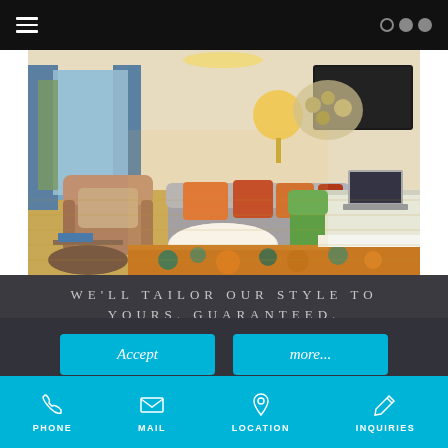Navigation bar with hamburger menu and dots
[Figure (photo): Hotel room interior with armchair, sofa with colorful pillows, white coffee table, desk with laptop, flat-screen TV on wall, and colorful patterned bedspread]
WE'LL TAILOR OUR STYLE TO YOURS. GUARANTEED.
Accept
more...
This website uses cookies...
PHONE  MAIL  LOCATION  INQUIRIES